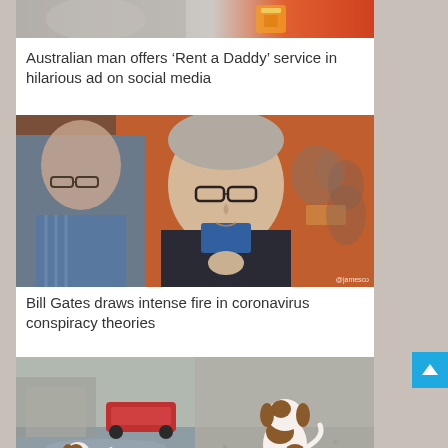[Figure (photo): Partial top image cropped — appears to show hands/objects with red and orange background, cut off at top]
Australian man offers ‘Rent a Daddy’ service in hilarious ad on social media
[Figure (photo): Photo of Bill Gates wearing glasses and a dark jacket over blue shirt, standing in front of an orange wall at an event. Another man partially visible on left. Watermark '@jamesco' bottom right.]
Bill Gates draws intense fire in coronavirus conspiracy theories
[Figure (photo): Two side-by-side photos of a small brown-and-white puppy outdoors. Left: puppy near flooded street with car in background. Right: puppy sitting on ground facing away from camera.]